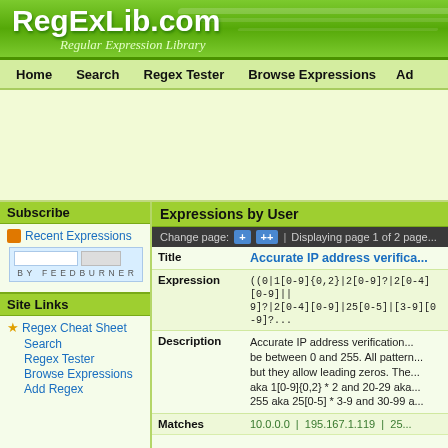RegExLib.com — Regular Expression Library
Home   Search   Regex Tester   Browse Expressions   Ad...
[Figure (other): Advertisement area, light green background]
Subscribe
Recent Expressions
BY FEEDBURNER
Site Links
Regex Cheat Sheet
Search
Regex Tester
Browse Expressions
Add Regex
Expressions by User
Change page: + ++ | Displaying page 1 of 2 pages
| Title | Accurate IP address verifica... |
| --- | --- |
| Expression | ((0|1[0-9]{0,2}|2[0-9]?|2[0-4][0-9]||... 9]?|2[0-4][0-9]|25[0-5]|[3-9][0-9]?... |
| Description | Accurate IP address verification... be between 0 and 255. All pattern... but they allow leading zeros. The... aka 1[0-9]{0,2} * 2 and 20-29 aka... 255 aka 25[0-5] * 3-9 and 30-99 a... |
| Matches | 10.0.0.0   |   195.167.1.119   |   25... |